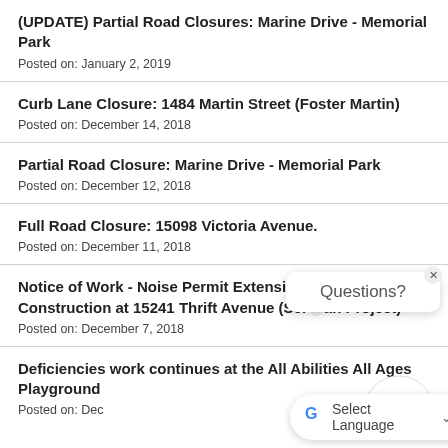(UPDATE) Partial Road Closures: Marine Drive - Memorial Park
Posted on: January 2, 2019
Curb Lane Closure: 1484 Martin Street (Foster Martin)
Posted on: December 14, 2018
Partial Road Closure: Marine Drive - Memorial Park
Posted on: December 12, 2018
Full Road Closure: 15098 Victoria Avenue.
Posted on: December 11, 2018
Notice of Work - Noise Permit Extensions for Construction at 15241 Thrift Avenue (Serrah Project)
Posted on: December 7, 2018
Deficiencies work continues at the All Abilities All Ages Playground
Posted on: Dec...